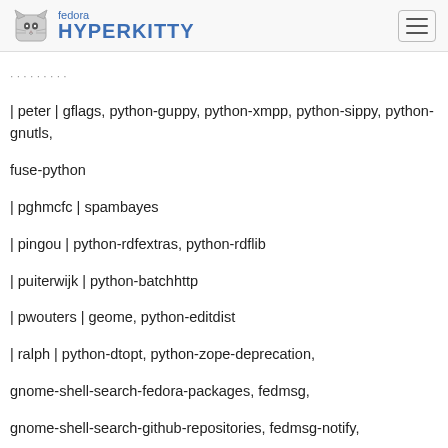fedora HYPERKITTY
| peter | gflags, python-guppy, python-xmpp, python-sippy, python-gnutls,
fuse-python
| pghmcfc | spambayes
| pingou | python-rdfextras, python-rdflib
| puiterwijk | python-batchhttp
| pwouters | geome, python-editdist
| ralph | python-dtopt, python-zope-deprecation, gnome-shell-search-fedora-packages, fedmsg, gnome-shell-search-github-repositories, fedmsg-notify, python-pyramid, python-venusian, python-translationstring, TurboGears2, python-repoze-lru, gnome-shell-search-pinboard
| rhughes | python-numeric
| ricky | python-weberror, python-dtopt, python-wsgiproxy, supybot, python-dictclient
| rmattes | python-rospkg, python-rosdep, python-rosinstall, catkin, python-vcstools
| [fedora icon] rt | python-boto
| rossdylan | python-pyramid, python-venusian